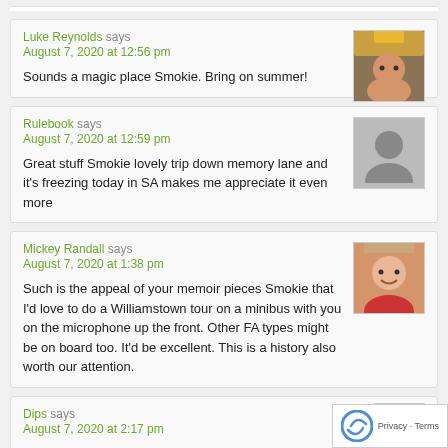Luke Reynolds says
August 7, 2020 at 12:56 pm

Sounds a magic place Smokie. Bring on summer!
Rulebook says
August 7, 2020 at 12:59 pm

Great stuff Smokie lovely trip down memory lane and it's freezing today in SA makes me appreciate it even more
Mickey Randall says
August 7, 2020 at 1:38 pm

Such is the appeal of your memoir pieces Smokie that I'd love to do a Williamstown tour on a minibus with you on the microphone up the front. Other FA types might be on board too. It'd be excellent. This is a history also worth our attention.
Dips says
August 7, 2020 at 2:17 pm